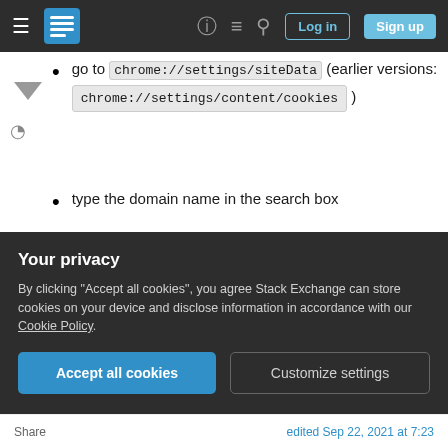Stack Exchange navigation bar with hamburger menu, logo, help, chat, search icons, Log in and Sign up buttons
go to chrome://settings/siteData (earlier versions: chrome://settings/content/cookies )
type the domain name in the search box
click delete
More details here:
http://oxid-blog.euroblaze.de/miscellaneous/delete-google-chrome-cookies-selectively-by-
Your privacy
By clicking "Accept all cookies", you agree Stack Exchange can store cookies on your device and disclose information in accordance with our Cookie Policy.
[Accept all cookies] [Customize settings]
Share    edited Sep 22, 2021 at 7:23